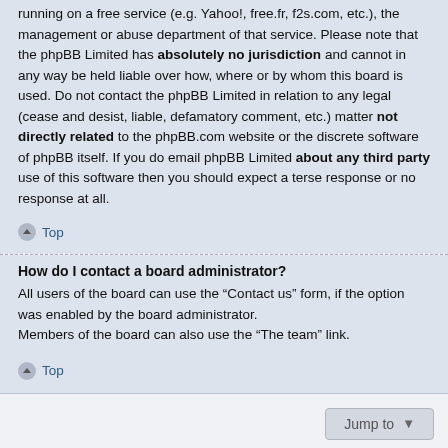running on a free service (e.g. Yahoo!, free.fr, f2s.com, etc.), the management or abuse department of that service. Please note that the phpBB Limited has absolutely no jurisdiction and cannot in any way be held liable over how, where or by whom this board is used. Do not contact the phpBB Limited in relation to any legal (cease and desist, liable, defamatory comment, etc.) matter not directly related to the phpBB.com website or the discrete software of phpBB itself. If you do email phpBB Limited about any third party use of this software then you should expect a terse response or no response at all.
Top
How do I contact a board administrator?
All users of the board can use the “Contact us” form, if the option was enabled by the board administrator.
Members of the board can also use the “The team” link.
Top
Jump to
Board index   Delete cookies   All times are UTC+10:00
Powered by phpBB® Forum Software © phpBB Limited
Privacy | Terms